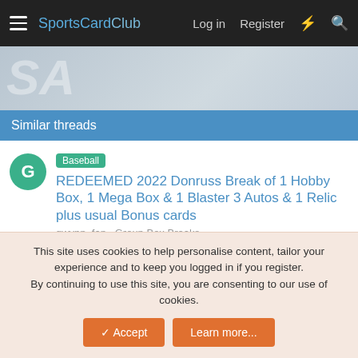SportsCardClub  Log in  Register
[Figure (screenshot): Banner image area with number partial text visible]
Similar threads
Baseball  REDEEMED 2022 Donruss Break of 1 Hobby Box, 1 Mega Box & 1 Blaster 3 Autos & 1 Relic plus usual Bonus cards
gwynn_fan · Group Box Breaks
Replies: 23 · Jun 10, 2022
Baseball  Finished Auction Styles 2 Boxes 2022 Heritage Baseball & 2 Blasters 2021 Archives plus usuals
gwynn_fan · Group Box Breaks
This site uses cookies to help personalise content, tailor your experience and to keep you logged in if you register.
By continuing to use this site, you are consenting to our use of cookies.